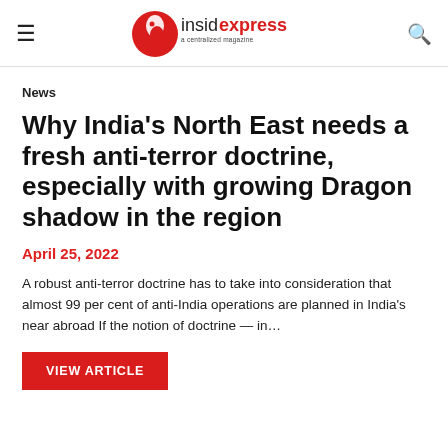insidexpress a centralized magazine
News
Why India's North East needs a fresh anti-terror doctrine, especially with growing Dragon shadow in the region
April 25, 2022
A robust anti-terror doctrine has to take into consideration that almost 99 per cent of anti-India operations are planned in India's near abroad If the notion of doctrine — in…
VIEW ARTICLE